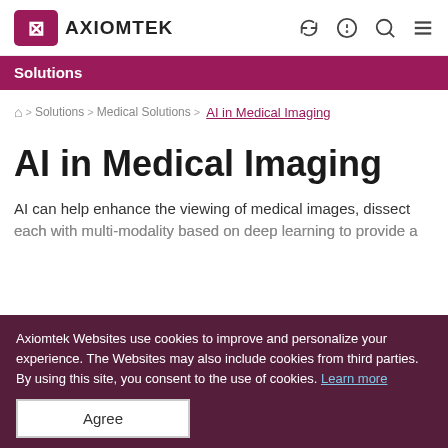AXIOMTEK
Solutions
🏠 > Solutions > Medical Solutions > AI in Medical Imaging
AI in Medical Imaging
AI can help enhance the viewing of medical images, dissect each with multi-modality based on deep learning to provide improved access, processed 2D, 3D, and 4D flow. All are done at a high speed of acquisition and accuracy. It can significantly assist
Axiomtek Websites use cookies to improve and personalize your experience. The Websites may also include cookies from third parties. By using this site, you consent to the use of cookies. Learn more